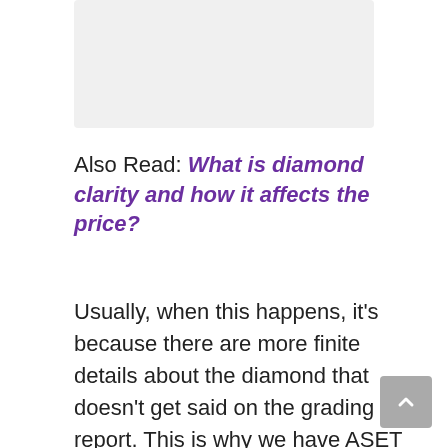[Figure (photo): Image placeholder at top of page]
Also Read: What is diamond clarity and how it affects the price?
Usually, when this happens, it's because there are more finite details about the diamond that doesn't get said on the grading report. This is why we have ASET and Ideal Scope imaging.
ASET imaging shows all the light that is reflected back through the diamond